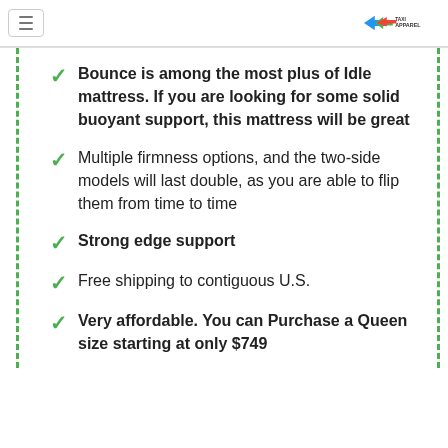≡  [Taxi Apparel logo]
Bounce is among the most plus of Idle mattress. If you are looking for some solid buoyant support, this mattress will be great
Multiple firmness options, and the two-side models will last double, as you are able to flip them from time to time
Strong edge support
Free shipping to contiguous U.S.
Very affordable. You can Purchase a Queen size starting at only $749